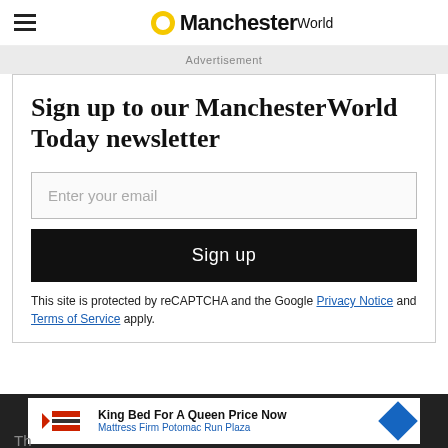ManchesterWorld
Advertisement
Sign up to our ManchesterWorld Today newsletter
Enter your email
Sign up
This site is protected by reCAPTCHA and the Google Privacy Notice and Terms of Service apply.
King Bed For A Queen Price Now Mattress Firm Potomac Run Plaza
Th